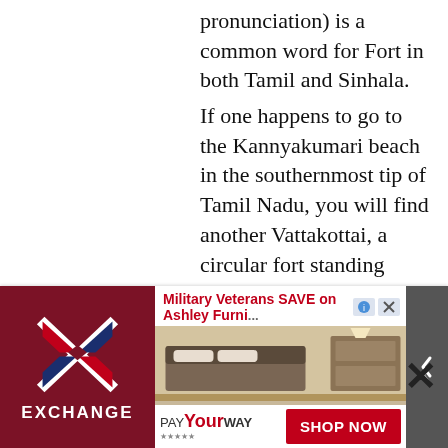pronunciation) is a common word for Fort in both Tamil and Sinhala. If one happens to go to the Kannyakumari beach in the southernmost tip of Tamil Nadu, you will find another Vattakottai, a circular fort standing surrounding the wide seaside. Looks like the Sinhala-Buddhists have built another Sinhala Battakotte in Tamil Nadu as well. LOL The meaning of Vatta/Vattu in Tamil/Dravidian etymology is round/circular/ring shape. The reason for the Tamil word Vattakottai for the Fort at
[Figure (other): Advertisement banner for AAFES Exchange showing Military Veterans SAVE on Ashley Furniture with a PAY Your WAY offer and SHOP NOW button alongside a bedroom furniture image]